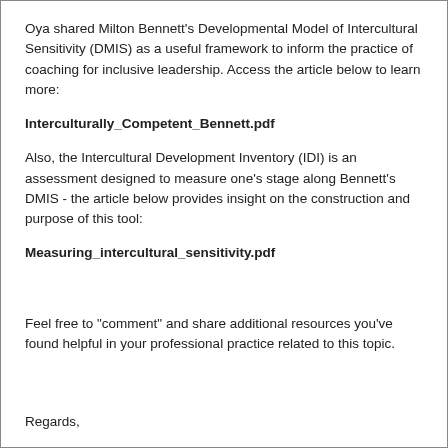Oya shared Milton Bennett's Developmental Model of Intercultural Sensitivity (DMIS) as a useful framework to inform the practice of coaching for inclusive leadership. Access the article below to learn more:
Interculturally_Competent_Bennett.pdf
Also, the Intercultural Development Inventory (IDI) is an assessment designed to measure one's stage along Bennett's DMIS - the article below provides insight on the construction and purpose of this tool:
Measuring_intercultural_sensitivity.pdf
Feel free to "comment" and share additional resources you've found helpful in your professional practice related to this topic.
Regards,